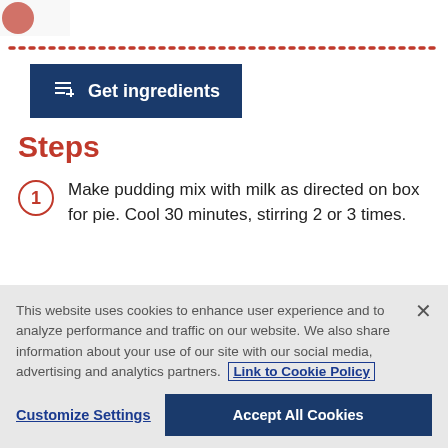[Figure (logo): Partial logo in top left corner]
Get ingredients
Steps
Make pudding mix with milk as directed on box for pie. Cool 30 minutes, stirring 2 or 3 times.
This website uses cookies to enhance user experience and to analyze performance and traffic on our website. We also share information about your use of our site with our social media, advertising and analytics partners. Link to Cookie Policy
Customize Settings
Accept All Cookies